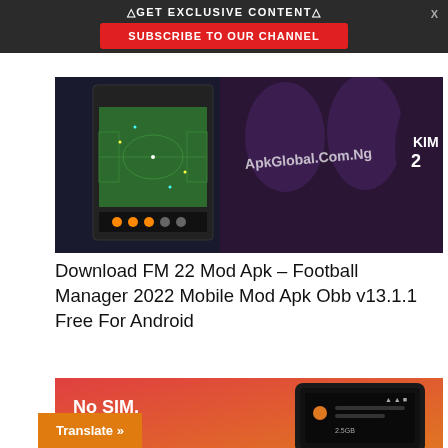△GET EXCLUSIVE CONTENT△
SUBSCRIBE TO OUR CHANNEL
[Figure (photo): Football Manager 2022 gameplay screenshot overlaid on real football players in purple jerseys, with watermark text 'ApkGlobal.Com.Ng']
Download FM 22 Mod Apk – Football Manager 2022 Mobile Mod Apk Obb v13.1.1 Free For Android
[Figure (photo): Smartphone on red/orange gradient background with text 'No SIM, No WiFi' and a mobile data app interface]
Translate »